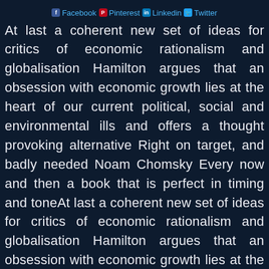Facebook  Pinterest  Linkedin  Twitter
At last a coherent new set of ideas for critics of economic rationalism and globalisation Hamilton argues that an obsession with economic growth lies at the heart of our current political, social and environmental ills and offers a thought provoking alternative Right on target, and badly needed Noam Chomsky Every now and then a book that is perfect in timing and toneAt last a coherent new set of ideas for critics of economic rationalism and globalisation Hamilton argues that an obsession with economic growth lies at the heart of our current political, social and environmental ills and offers